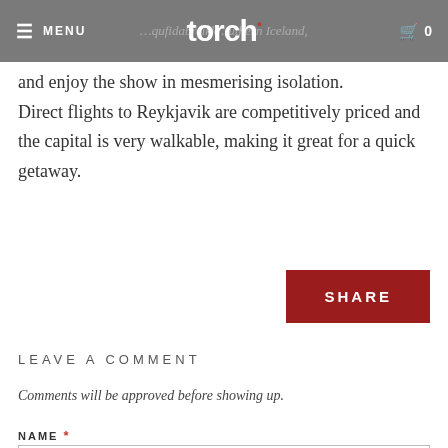MENU | torch. | 0
and enjoy the show in mesmerising isolation. Direct flights to Reykjavik are competitively priced and the capital is very walkable, making it great for a quick getaway.
[Figure (other): SHARE button in dark red]
LEAVE A COMMENT
Comments will be approved before showing up.
NAME *
EMAIL *